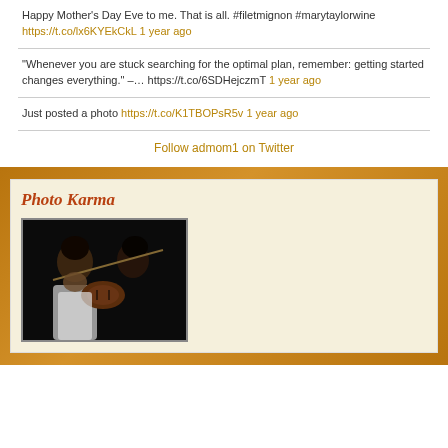Happy Mother's Day Eve to me. That is all. #filetmignon #marytaylorwine https://t.co/lx6KYEkCkL 1 year ago
"Whenever you are stuck searching for the optimal plan, remember: getting started changes everything." -… https://t.co/6SDHejczmT 1 year ago
Just posted a photo https://t.co/K1TBOPsR5v 1 year ago
Follow admom1 on Twitter
Photo Karma
[Figure (photo): Two young girls playing violins on a dark stage]